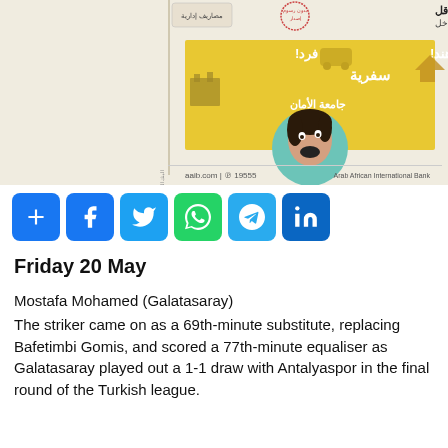[Figure (photo): Advertisement banner for Arab African International Bank (aaib.com | 19555) with Arabic text, yellow background, illustrated icons (car, house, ruins), and a surprised woman's face on a teal circle. Arabic text includes bank promotional content.]
[Figure (infographic): Row of social media share buttons: share (blue), Facebook (blue), Twitter (light blue), WhatsApp (green), Telegram (blue), LinkedIn (dark blue)]
Friday 20 May
Mostafa Mohamed (Galatasaray)
The striker came on as a 69th-minute substitute, replacing Bafetimbi Gomis, and scored a 77th-minute equaliser as Galatasaray played out a 1-1 draw with Antalyaspor in the final round of the Turkish league.